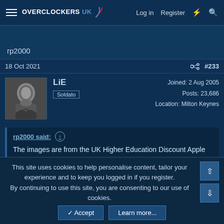Overclockers UK — Log in  Register
rp2000
18 Oct 2021   #233
LiE
Soldato
Joined: 2 Aug 2005
Posts: 23,686
Location: Milton Keynes
rp2000 said: ↑
The images are from the UK Higher Education Discount Apple site. I'm not sure that price can be beaten unless you're a large enterprise customer.
This site uses cookies to help personalise content, tailor your experience and to keep you logged in if you register.
By continuing to use this site, you are consenting to our use of cookies.